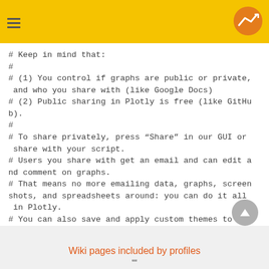# Keep in mind that:
#
# (1) You control if graphs are public or private, and who you share with (like Google Docs)
# (2) Public sharing in Plotly is free (like GitHub).
#
# To share privately, press “Share” in our GUI or share with your script.
# Users you share with get an email and can edit and comment on graphs.
# That means no more emailing data, graphs, screenshots, and spreadsheets around: you can do it all in Plotly.
# You can also save and apply custom themes to new data to avoid re-making the same graphs with new data.
# Just upload and apply your theme.
Wiki pages included by profiles
""